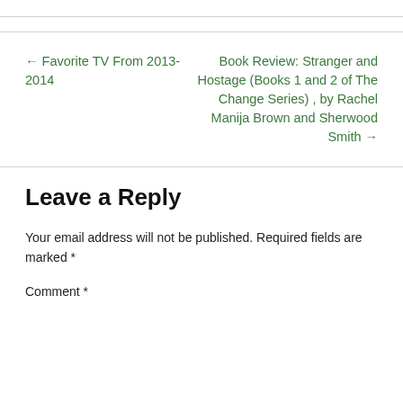← Favorite TV From 2013-2014
Book Review: Stranger and Hostage (Books 1 and 2 of The Change Series) , by Rachel Manija Brown and Sherwood Smith →
Leave a Reply
Your email address will not be published. Required fields are marked *
Comment *